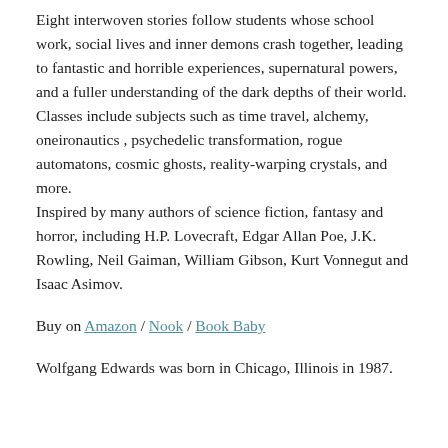Eight interwoven stories follow students whose school work, social lives and inner demons crash together, leading to fantastic and horrible experiences, supernatural powers, and a fuller understanding of the dark depths of their world.
Classes include subjects such as time travel, alchemy, oneironautics , psychedelic transformation, rogue automatons, cosmic ghosts, reality-warping crystals, and more.
Inspired by many authors of science fiction, fantasy and horror, including H.P. Lovecraft, Edgar Allan Poe, J.K. Rowling, Neil Gaiman, William Gibson, Kurt Vonnegut and Isaac Asimov.
Buy on Amazon / Nook / Book Baby
Wolfgang Edwards was born in Chicago, Illinois in 1987.